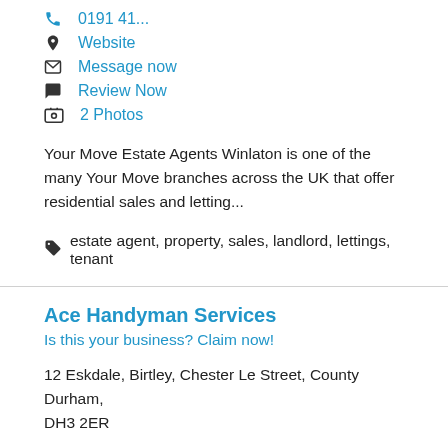0191 41...
Website
Message now
Review Now
2 Photos
Your Move Estate Agents Winlaton is one of the many Your Move branches across the UK that offer residential sales and letting...
estate agent, property, sales, landlord, lettings, tenant
Ace Handyman Services
Is this your business? Claim now!
12 Eskdale, Birtley, Chester Le Street, County Durham, DH3 2ER